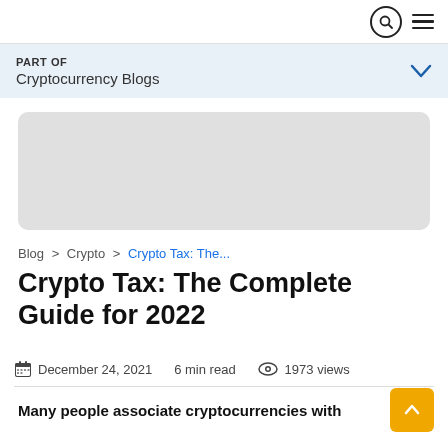PART OF Cryptocurrency Blogs
[Figure (photo): Gray rectangular image placeholder with rounded corners]
Blog > Crypto > Crypto Tax: The...
Crypto Tax: The Complete Guide for 2022
December 24, 2021   6 min read   1973 views
Many people associate cryptocurrencies with